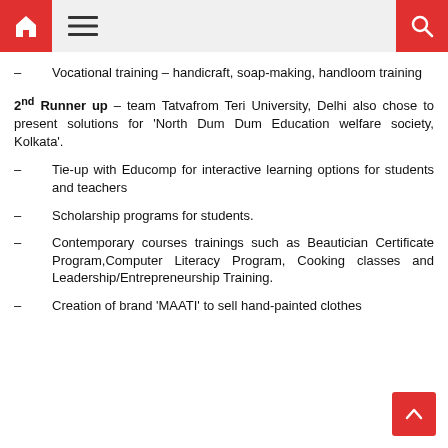– Vocational training – handicraft, soap-making, handloom training
2nd Runner up – team Tatvafrom Teri University, Delhi also chose to present solutions for 'North Dum Dum Education welfare society, Kolkata'.
– Tie-up with Educomp for interactive learning options for students and teachers
– Scholarship programs for students.
– Contemporary courses trainings such as Beautician Certificate Program,Computer Literacy Program, Cooking classes and Leadership/Entrepreneurship Training.
– Creation of brand 'MAATI' to sell hand-painted clothes